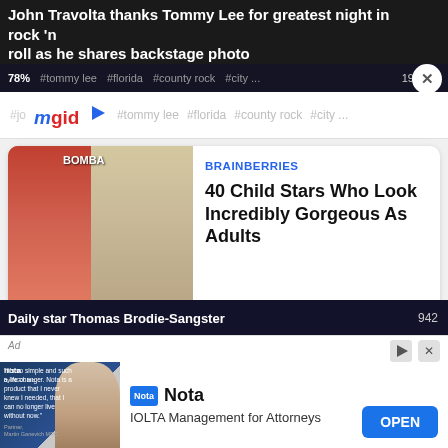[Figure (screenshot): Background news article headline: 'John Travolta thanks Tommy Lee for greatest night in rock n roll as he shares backstage photo']
78%
#tommy lee  #florida  #county rock  #city ...
[Figure (screenshot): MGID content recommendation widget showing logo and hashtag navigation bar]
[Figure (screenshot): BRAINBERRIES article card: '40 Child Stars Who Look Incredibly Gorgeous As Adults' with photo of two women]
BRAINBERRIES
40 Child Stars Who Look Incredibly Gorgeous As Adults
[Figure (screenshot): BRAINBERRIES article card: 'Most Beautiful Female Supermodels From India' with photo of woman]
BRAINBERRIES
Most Beautiful Female Supermodels From India
[Figure (screenshot): Background news strip: 'Daily star Thomas Brodie-Sangster' with number 942]
[Figure (screenshot): Advertisement banner for Nota - IOLTA Management for Attorneys with OPEN button]
Ad
Nota
IOLTA Management for Attorneys
OPEN